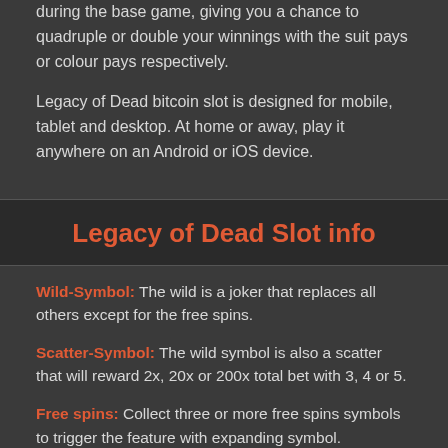during the base game, giving you a chance to quadruple or double your winnings with the suit pays or colour pays respectively.
Legacy of Dead bitcoin slot is designed for mobile, tablet and desktop. At home or away, play it anywhere on an Android or iOS device.
Legacy of Dead Slot info
Wild-Symbol: The wild is a joker that replaces all others except for the free spins.
Scatter-Symbol: The wild symbol is also a scatter that will reward 2x, 20x or 200x total bet with 3, 4 or 5.
Free spins: Collect three or more free spins symbols to trigger the feature with expanding symbol.
Gamble-Option: Play the colour pays or suit gamble up to five times in the main game for double or quadruple your